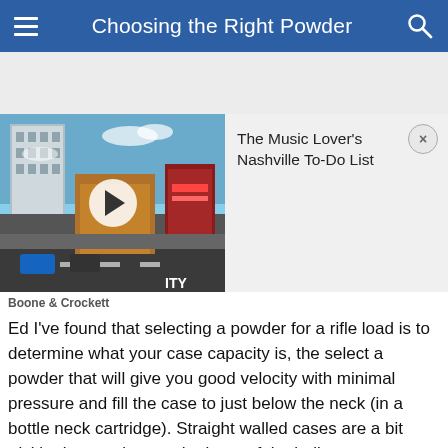Choosing the Right Powder
[Figure (photo): A city street scene thumbnail (Nashville downtown) with a play button overlay next to a video card titled 'The Music Lover's Nashville To-Do List' with a close (×) button.]
Boone & Crockett
Ed I've found that selecting a powder for a rifle load is to determine what your case capacity is, the select a powder that will give you good velocity with minimal pressure and fill the case to just below the neck (in a bottle neck cartridge). Straight walled cases are a bit trickier but as close to the base of the bullet as you can get. Using this method I've often found that you get our best accuracy with less then maximum charge and still acceptable velocity. (i.e: I have great luck with IMR4350 in the 270 Win, and IMR4064 in the